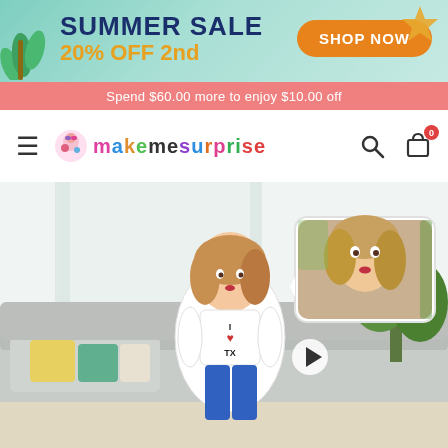[Figure (screenshot): Summer Sale banner with teal gradient background, palm tree decoration on left, starfish on right. Text reads SUMMER SALE 20% OFF 2nd with orange SHOP NOW button. Below is a pink promotional bar with text about spending more to enjoy free shipping.]
[Figure (logo): MakeMeSurprise website logo with colorful cartoon character and multicolored brand name text]
[Figure (photo): Product photo showing a custom body pillow shaped like a girl figure wearing I Love TX t-shirt and blue jeans, placed on a sofa. An inset photo shows the source photo of a blonde woman used for the face.]